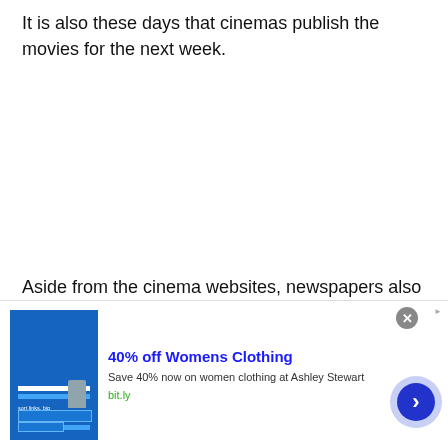It is also these days that cinemas publish the movies for the next week.
Aside from the cinema websites, newspapers also
[Figure (screenshot): Advertisement banner: '40% off Womens Clothing – Save 40% now on women clothing at Ashley Stewart – bit.ly' with a screenshot of a website, a close button, and a blue arrow button.]